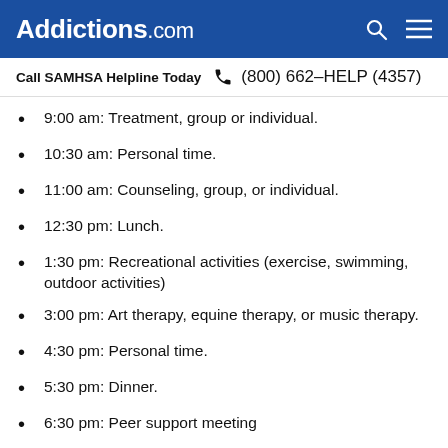Addictions.com
Call SAMHSA Helpline Today  (800) 662-HELP (4357)
9:00 am: Treatment, group or individual.
10:30 am: Personal time.
11:00 am: Counseling, group, or individual.
12:30 pm: Lunch.
1:30 pm: Recreational activities (exercise, swimming, outdoor activities)
3:00 pm: Art therapy, equine therapy, or music therapy.
4:30 pm: Personal time.
5:30 pm: Dinner.
6:30 pm: Peer support meeting